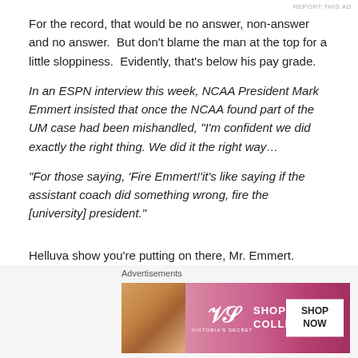For the record, that would be no answer, non-answer and no answer.  But don't blame the man at the top for a little sloppiness.  Evidently, that's below his pay grade.
In an ESPN interview this week, NCAA President Mark Emmert insisted that once the NCAA found part of the UM case had been mishandled, “I’m confident we did exactly the right thing. We did it the right way…
“For those saying, ‘Fire Emmert!’it’s like saying if the assistant coach did something wrong, fire the [university] president.”
Helluva show you’re putting on there, Mr. Emmert.
[Figure (other): Victoria's Secret advertisement banner with model photo, VS logo, 'SHOP THE COLLECTION' text, and 'SHOP NOW' button]